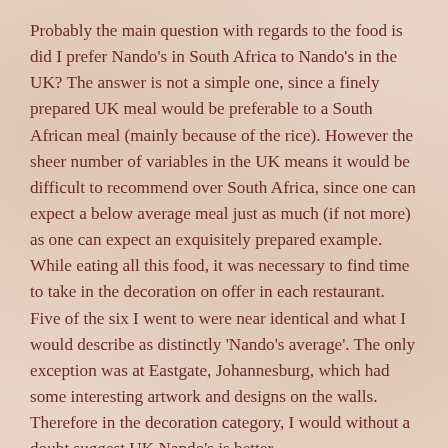Probably the main question with regards to the food is did I prefer Nando's in South Africa to Nando's in the UK? The answer is not a simple one, since a finely prepared UK meal would be preferable to a South African meal (mainly because of the rice). However the sheer number of variables in the UK means it would be difficult to recommend over South Africa, since one can expect a below average meal just as much (if not more) as one can expect an exquisitely prepared example.
While eating all this food, it was necessary to find time to take in the decoration on offer in each restaurant. Five of the six I went to were near identical and what I would describe as distinctly 'Nando's average'. The only exception was at Eastgate, Johannesburg, which had some interesting artwork and designs on the walls. Therefore in the decoration category, I would without a doubt suggest UK Nando's is better.
The final aspect to consider is the price of a meal. In South Africa a burger and chips costs just under 3.50; something which would cost double in the UK. Clearly there are big